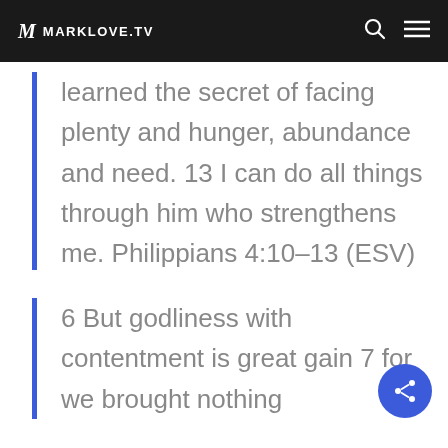MARKLOVE.TV
learned the secret of facing plenty and hunger, abundance and need. 13 I can do all things through him who strengthens me. Philippians 4:10–13 (ESV)
6 But godliness with contentment is great gain 7 for we brought nothing